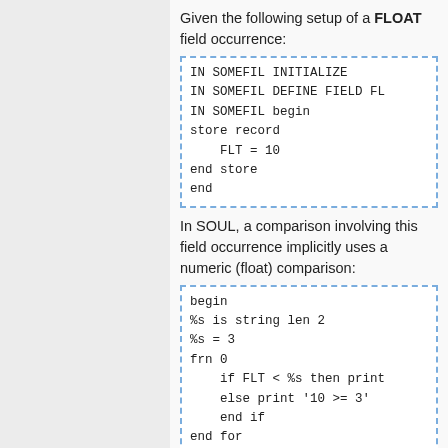Given the following setup of a FLOAT field occurrence:
In SOUL, a comparison involving this field occurrence implicitly uses a numeric (float) comparison:
The result of the above SOUL